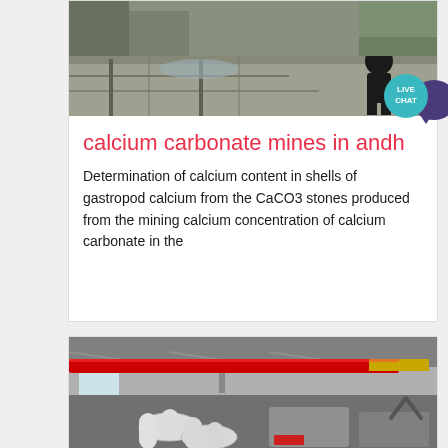[Figure (photo): Photo of a person crouching near industrial stone/concrete slabs in an outdoor mining or production area]
calcium carbonate mines in andh
Determination of calcium content in shells of gastropod calcium from the CaCO3 stones produced from the mining calcium concentration of calcium carbonate in the
[Figure (photo): Photo of an industrial factory interior with a red overhead crane beam and white industrial pipes/machinery]